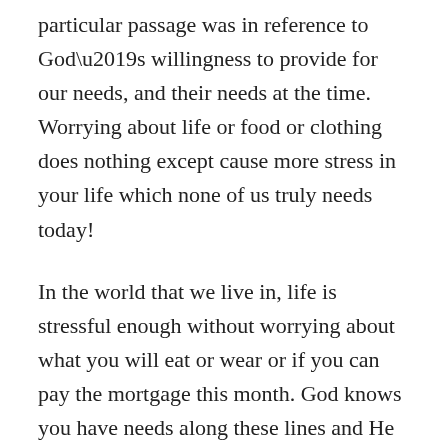particular passage was in reference to God's willingness to provide for our needs, and their needs at the time. Worrying about life or food or clothing does nothing except cause more stress in your life which none of us truly needs today!
In the world that we live in, life is stressful enough without worrying about what you will eat or wear or if you can pay the mortgage this month. God knows you have needs along these lines and He will give you the ability to pay for them or acquire them in time for your needs to be met. Notice that I said “needs” not wants! God doesn’t provide luxury until you are rewarded in Heaven for your service to Him in this life. You may be able to acquire luxury items in this life but you would